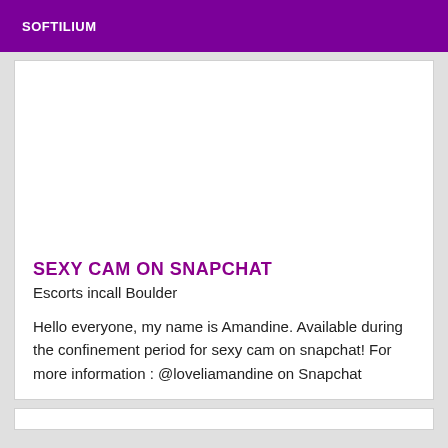SOFTILIUM
SEXY CAM ON SNAPCHAT
Escorts incall Boulder
Hello everyone, my name is Amandine. Available during the confinement period for sexy cam on snapchat! For more information : @loveliamandine on Snapchat